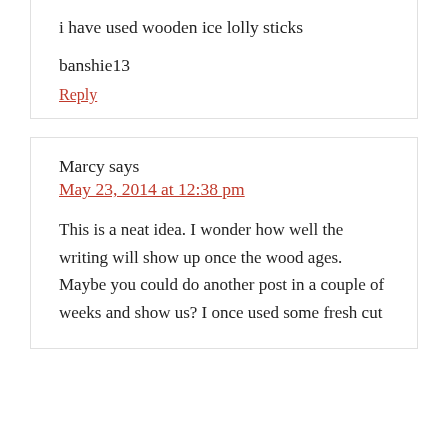i have used wooden ice lolly sticks
banshie13
Reply
Marcy says
May 23, 2014 at 12:38 pm
This is a neat idea. I wonder how well the writing will show up once the wood ages. Maybe you could do another post in a couple of weeks and show us? I once used some fresh cut